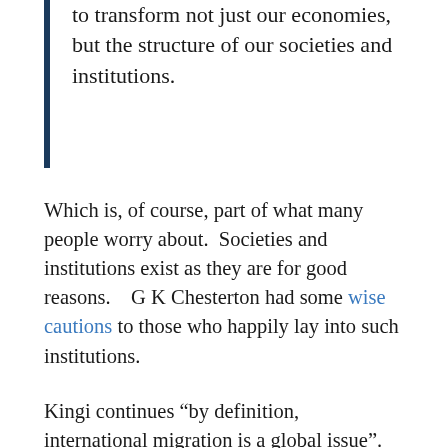to transform not just our economies, but the structure of our societies and institutions.
Which is, of course, part of what many people worry about.  Societies and institutions exist as they are for good reasons.   G K Chesterton had some wise cautions to those who happily lay into such institutions.
Kingi continues “by definition, international migration is a global issue”.  Well, I suppose so, in that for any international migration to occur at least two countries are involved.  But there is no necessary reason why immigration policy should be considered a global issue at all.  It